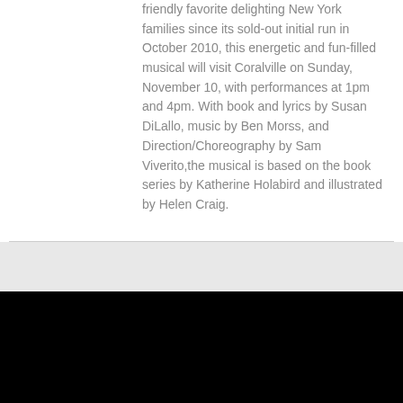friendly favorite delighting New York families since its sold-out initial run in October 2010, this energetic and fun-filled musical will visit Coralville on Sunday, November 10, with performances at 1pm and 4pm. With book and lyrics by Susan DiLallo, music by Ben Morss, and Direction/Choreography by Sam Viverito,the musical is based on the book series by Katherine Holabird and illustrated by Helen Craig.
Broadway Rewind: Lights Up on IN THE HEIGHTS Opening Night!